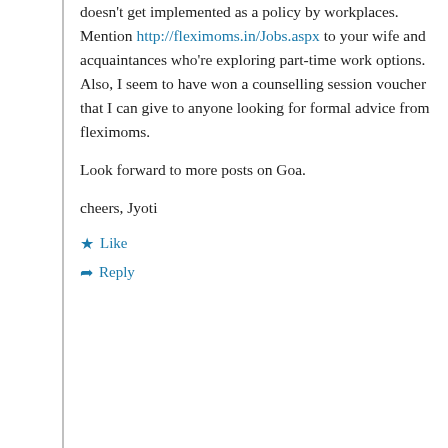doesn't get implemented as a policy by workplaces. Mention http://fleximoms.in/Jobs.aspx to your wife and acquaintances who're exploring part-time work options. Also, I seem to have won a counselling session voucher that I can give to anyone looking for formal advice from fleximoms.

Look forward to more posts on Goa.

cheers, Jyoti
Like
Reply